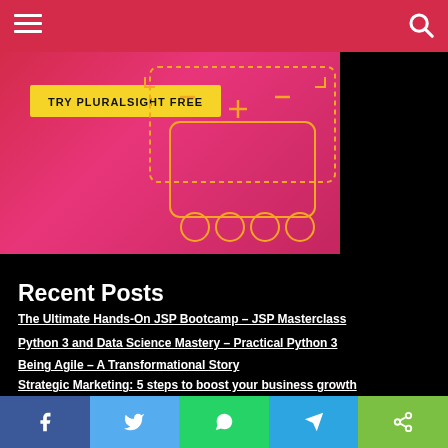[Figure (screenshot): Red navigation bar with hamburger menu on left and search icon on right]
[Figure (illustration): Pluralsight advertisement banner with pink/magenta background showing 'TRY PLURALSIGHT FREE' button and decorative tech-themed circuit/gear illustration in orange/yellow]
Recent Posts
The Ultimate Hands-On JSP Bootcamp – JSP Masterclass
Python 3 and Data Science Mastery – Practical Python 3
Being Agile – A Transformational Story
Strategic Marketing: 5 steps to boost your business growth
Zero To Hero Apache Kafka with SpringBoot mastery
[Figure (infographic): Social share bar with five colored buttons: Facebook (blue), Twitter (light blue), WhatsApp (green), Telegram (blue), Share (green)]